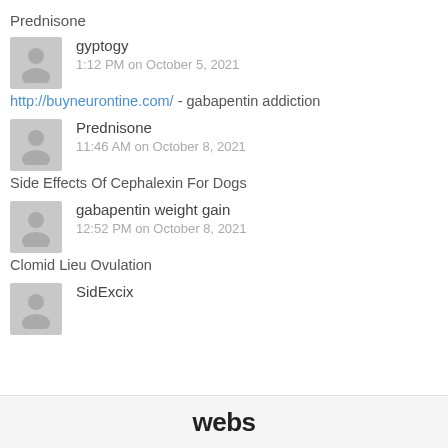Prednisone
gyptogy
1:12 PM on October 5, 2021
http://buyneurontine.com/ - gabapentin addiction
Prednisone
11:46 AM on October 8, 2021
Side Effects Of Cephalexin For Dogs
gabapentin weight gain
12:52 PM on October 8, 2021
Clomid Lieu Ovulation
SidExcix
webs